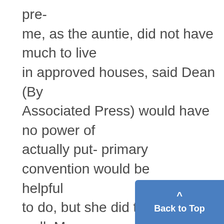pre- me, as the auntie, did not have much to live in approved houses, said Dean (By Associated Press) would have no power of actually put- primary convention would be helpful to do, but she did that little well. Moore;. however, there may be more. NEW YORK, July 30.-Nova Angus- ting candidates' names on ballots, but for three main reasons, saying "It It seems to the reviewer that the in the case of upper classnien stu- tus Bro represented himself could end